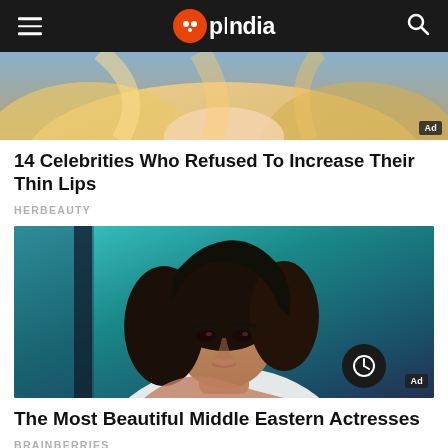OpIndia
[Figure (photo): Partial view of a blonde woman, advertisement image with 'Ad' badge]
14 Celebrities Who Refused To Increase Their Thin Lips
HERBEAUTY
[Figure (photo): A dark-haired Middle Eastern woman looking at camera, leaning on her arm, teal background, advertisement with clock/cookie consent button and 'Ad' badge]
The Most Beautiful Middle Eastern Actresses
BRAINBERRIES